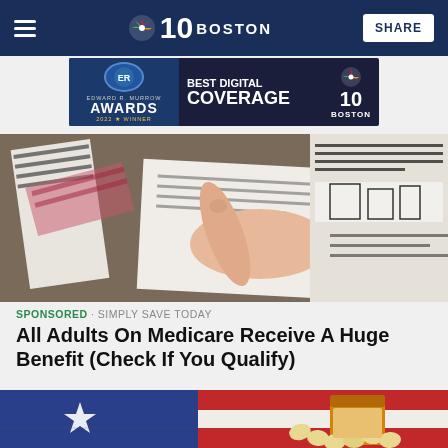NBC 10 BOSTON | SHARE
[Figure (screenshot): Award banner: Edward R. Murrow Awards 2022 Winner - Best Digital Coverage - NBC 10 Boston]
[Figure (photo): Person's hand on papers/documents on a table]
SPONSORED · SIMPLY SAVE TODAY
All Adults On Medicare Receive A Huge Benefit (Check If You Qualify)
[Figure (photo): American flag with red, white and blue sections, and an orange prescription pill bottle tipped over with pills visible]